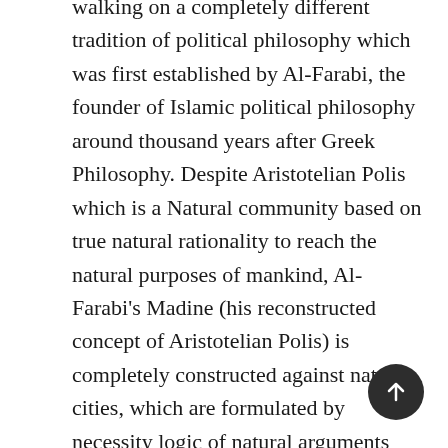walking on a completely different tradition of political philosophy which was first established by Al-Farabi, the founder of Islamic political philosophy around thousand years after Greek Philosophy. Despite Aristotelian Polis which is a Natural community based on true natural rationality to reach the natural purposes of mankind, Al-Farabi's Madine (his reconstructed concept of Aristotelian Polis) is completely constructed against natural cities, which are formulated by necessity logic of natural arguments and natural deception of humanity. In fact, Farabi considers the natural understanding of politics as Ignorant ideologies used by governments to suppress people. Madine in Farabi's work is not a natural institution but is a collaborative constitution founded by citizens. So despite Aristotelian thinking, here we don't have just A Polis that is the one true polis, but we have various multiple Madines among one, is virtuous